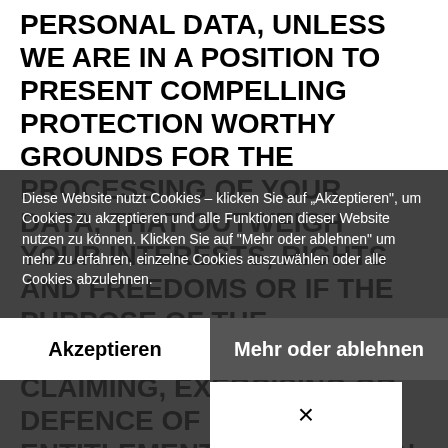PERSONAL DATA, UNLESS WE ARE IN A POSITION TO PRESENT COMPELLING PROTECTION WORTHY GROUNDS FOR THE PROCESSING OF YOUR DATA, THAT OUTWEIGH YOUR INTERESTS, RIGHTS AND FREEDOMS OR IF THE PURPOSE OF THE PROCESSING IS THE CLAIMING, EXERCISING OR DEFENCE OF LEGAL ENTITLEMENTS (OBJECTION PURSUANT TO ART. 21 SECT. 1 GDPR). IF YOUR PERSONAL DATA IS BEING PROCESSED IN ORDER TO ENGAGE IN DIRECT ADVERTISING, YOU HAVE THE RIGHT TO AT ANY TIME OBJECT TO THE PROCESSING OF YOUR AFFECTED PERSONAL DATA FOR THE PURPOSES OF SUCH ADVERTISING. THIS ALSO APPLIES TO PROFILING TO THE EXTENT THAT IT IS
Diese Website nutzt Cookies – klicken Sie auf „Akzeptieren", um Cookies zu akzeptieren und alle Funktionen dieser Website nutzen zu können. Klicken Sie auf "Mehr oder ablehnen" um mehr zu erfahren, einzelne Cookies auszuwählen oder alle Cookies abzulehnen.